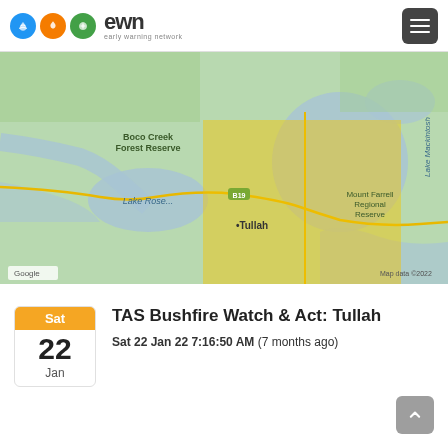ewn early warning network
[Figure (map): Google map showing Tullah area in Tasmania with a yellow highlighted rectangular region covering Tullah, Lake Rosebery, Mount Farrell Regional Reserve area, and Lake Mackintosh. Map data ©2022.]
TAS Bushfire Watch & Act: Tullah
Sat 22 Jan 22 7:16:50 AM (7 months ago)